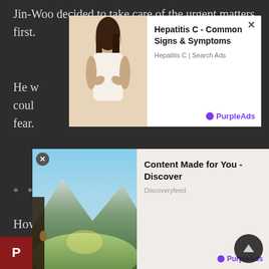Jin-Woo decided to take care of the urgent matters first.
He w... o coul... in fear.
[Figure (screenshot): Advertisement overlay: Hepatitis C - Common Signs & Symptoms, Hepatitis C | Search Ads, PurpleAds branding, with image of woman's back]
* * *
How did Hunters make money?
The best way was to kill monsters.
Hunters ranked S or A could get sponsorships, shoot commercials, make appearances in TV shows and the like to ho... ols made...
[Figure (screenshot): Advertisement overlay: Content Made for You - Discover, Discoveryfeed, PurpleAds branding, with mountain valley landscape image]